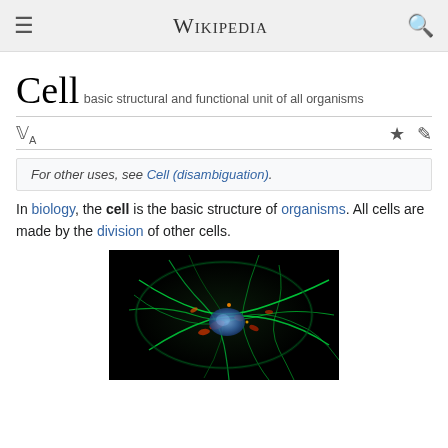Wikipedia
Cell
basic structural and functional unit of all organisms
For other uses, see Cell (disambiguation).
In biology, the cell is the basic structure of organisms. All cells are made by the division of other cells.
[Figure (photo): Fluorescence microscopy image of a cell, showing green cytoskeletal filaments, red mitochondria, and blue nucleus on a black background.]